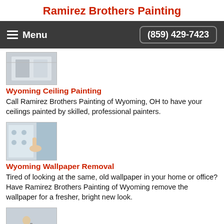Ramirez Brothers Painting
Menu  (859) 429-7423
[Figure (photo): Ceiling painting thumbnail image]
Wyoming Ceiling Painting
Call Ramirez Brothers Painting of Wyoming, OH to have your ceilings painted by skilled, professional painters.
[Figure (photo): Wallpaper removal thumbnail image showing hand peeling wallpaper]
Wyoming Wallpaper Removal
Tired of looking at the same, old wallpaper in your home or office? Have Ramirez Brothers Painting of Wyoming remove the wallpaper for a fresher, bright new look.
[Figure (photo): Garage floor painting thumbnail image showing person painting floor]
Wyoming Garage Floor Painting
Ramirez Brothers Painting offers the best garage floor